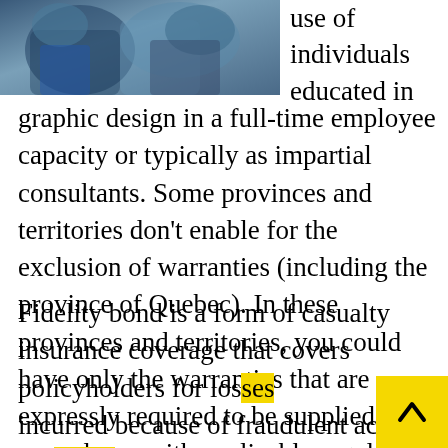[Figure (photo): Blurred photo of people, possibly in an office or public setting, upper-left corner of page]
use of individuals educated in graphic design in a full-time employee capacity or typically as impartial consultants. Some provinces and territories don't enable for the exclusion of warranties (including the province of Quebec). In these provinces and territories, you could have only the warranties that are expressly required to be supplied in accordance with applicable regulation.
Fidelity bond is a form of casualty insurance coverage that covers policyholders for losses incurred because of fraudulent acts by specified individuals.